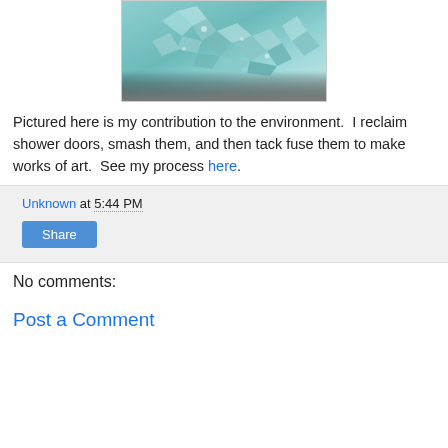[Figure (photo): Close-up photo of shattered/smashed teal-green glass pieces, likely from a reclaimed shower door, shown against a gray background]
Pictured here is my contribution to the environment.  I reclaim shower doors, smash them, and then tack fuse them to make works of art.  See my process here.
Unknown at 5:44 PM
Share
No comments:
Post a Comment